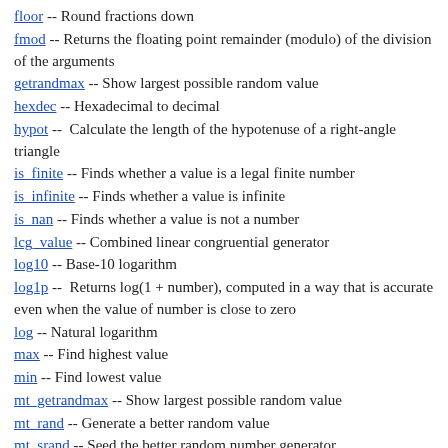floor -- Round fractions down
fmod -- Returns the floating point remainder (modulo) of the division of the arguments
getrandmax -- Show largest possible random value
hexdec -- Hexadecimal to decimal
hypot --  Calculate the length of the hypotenuse of a right-angle triangle
is_finite -- Finds whether a value is a legal finite number
is_infinite -- Finds whether a value is infinite
is_nan -- Finds whether a value is not a number
lcg_value -- Combined linear congruential generator
log10 -- Base-10 logarithm
log1p --  Returns log(1 + number), computed in a way that is accurate even when the value of number is close to zero
log -- Natural logarithm
max -- Find highest value
min -- Find lowest value
mt_getrandmax -- Show largest possible random value
mt_rand -- Generate a better random value
mt_srand -- Seed the better random number generator
octdec -- Octal to decimal
pi -- Get value of pi
pow -- Exponential expression
rad2deg --  Converts the radian number to the equivalent number in degrees